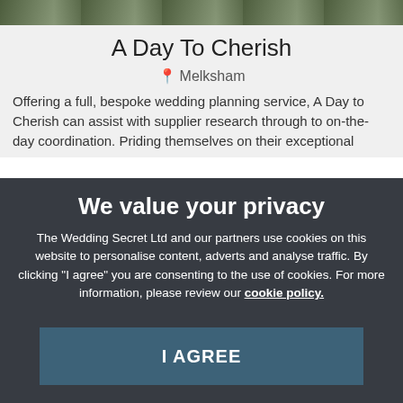[Figure (photo): Top photo strip showing a wedding scene outdoors]
A Day To Cherish
📍 Melksham
Offering a full, bespoke wedding planning service, A Day to Cherish can assist with supplier research through to on-the-day coordination. Priding themselves on their exceptional
We value your privacy
The Wedding Secret Ltd and our partners use cookies on this website to personalise content, adverts and analyse traffic. By clicking "I agree" you are consenting to the use of cookies. For more information, please review our cookie policy.
I AGREE